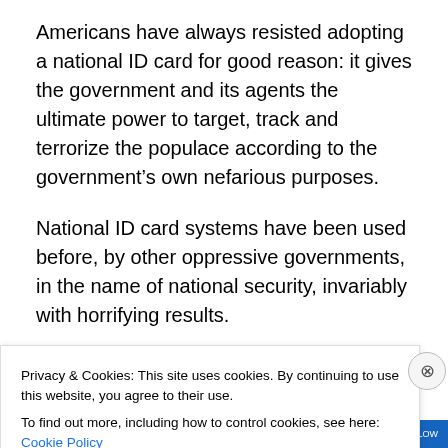Americans have always resisted adopting a national ID card for good reason: it gives the government and its agents the ultimate power to target, track and terrorize the populace according to the government's own nefarious purposes.
National ID card systems have been used before, by other oppressive governments, in the name of national security, invariably with horrifying results.
For instance, in Germany, the Nazis required all Jews to carry special stamped ID cards for travel within the
Privacy & Cookies: This site uses cookies. By continuing to use this website, you agree to their use.
To find out more, including how to control cookies, see here: Cookie Policy